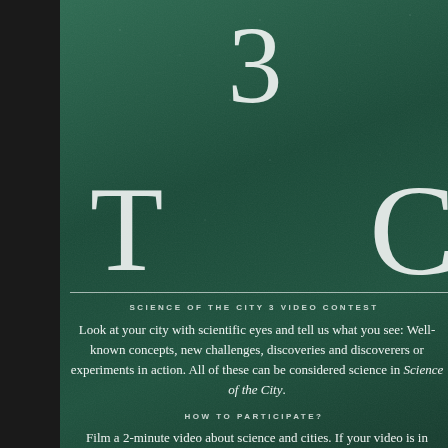[Figure (infographic): Dark green background with large decorative number '3' and letters 'T' and 'C' in thin serif font, forming part of the title 'Science of the City 3 Video Contest'. White dots scattered like stars.]
SCIENCE OF THE CITY 3 VIDEO CONTEST
Look at your city with scientific eyes and tell us what you see: Well-known concepts, new challenges, discoveries and discoverers or experiments in action. All of these can be considered science in Science of the City.
HOW TO PARTICIPATE?
Film a 2-minute video about science and cities. If your video is in English, you can try to subtitle it in Spanish. If it's in any other language, please subtitle it in English. Upload the video to your Youtube account and send the link to our email address: